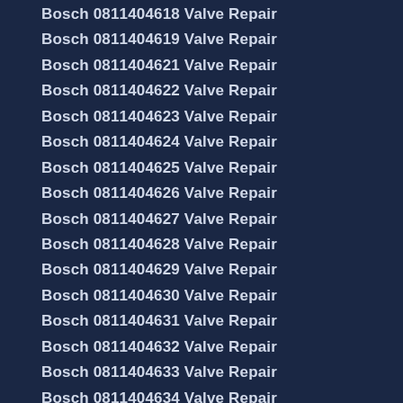Bosch 0811404618 Valve Repair
Bosch 0811404619 Valve Repair
Bosch 0811404621 Valve Repair
Bosch 0811404622 Valve Repair
Bosch 0811404623 Valve Repair
Bosch 0811404624 Valve Repair
Bosch 0811404625 Valve Repair
Bosch 0811404626 Valve Repair
Bosch 0811404627 Valve Repair
Bosch 0811404628 Valve Repair
Bosch 0811404629 Valve Repair
Bosch 0811404630 Valve Repair
Bosch 0811404631 Valve Repair
Bosch 0811404632 Valve Repair
Bosch 0811404633 Valve Repair
Bosch 0811404634 Valve Repair
Bosch 0811404635 Valve Repair
Bosch 0811404636 Valve Repair
Bosch 0811404637 Valve Repair